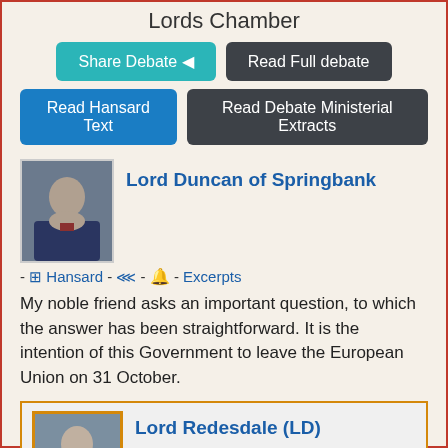Lords Chamber
[Figure (screenshot): Share Debate and Read Full debate buttons]
[Figure (screenshot): Read Hansard Text and Read Debate Ministerial Extracts buttons]
Lord Duncan of Springbank
- Hansard - - Excerpts
My noble friend asks an important question, to which the answer has been straightforward. It is the intention of this Government to leave the European Union on 31 October.
Lord Redesdale (LD)